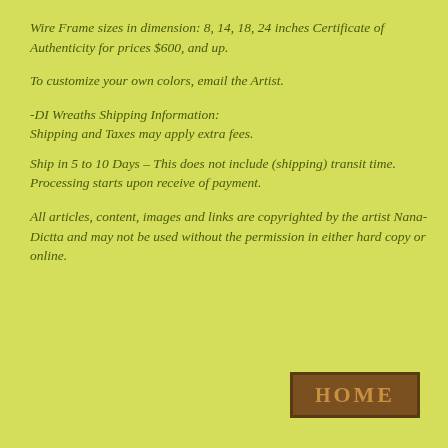Wire Frame sizes in dimension: 8, 14, 18, 24 inches Certificate of Authenticity for prices $600, and up.
To customize your own colors, email the Artist.
-DI Wreaths Shipping Information: Shipping and Taxes may apply extra fees.
Ship in 5 to 10 Days – This does not include (shipping) transit time. Processing starts upon receive of payment.
All articles, content, images and links are copyrighted by the artist Nana-Dictta and may not be used without the permission in either hard copy or online.
[Figure (other): HOME button — dark brown rectangular button with gold bold uppercase text reading HOME]